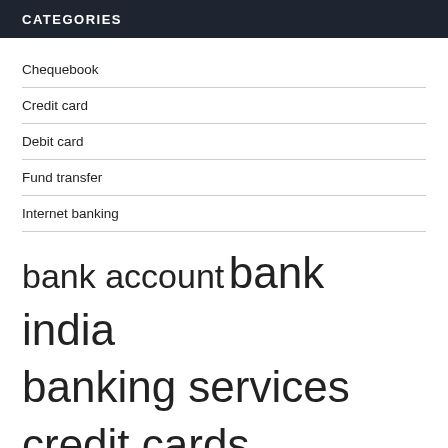CATEGORIES
Chequebook
Credit card
Debit card
Fund transfer
Internet banking
bank account bank india banking services credit cards credit debit credit score debit cards india sbi interest rate internet banking